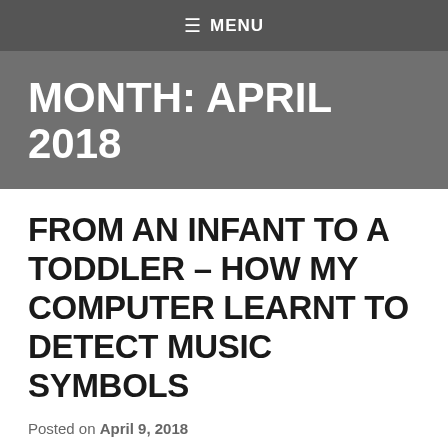≡ MENU
MONTH: APRIL 2018
FROM AN INFANT TO A TODDLER – HOW MY COMPUTER LEARNT TO DETECT MUSIC SYMBOLS
Posted on April 9, 2018